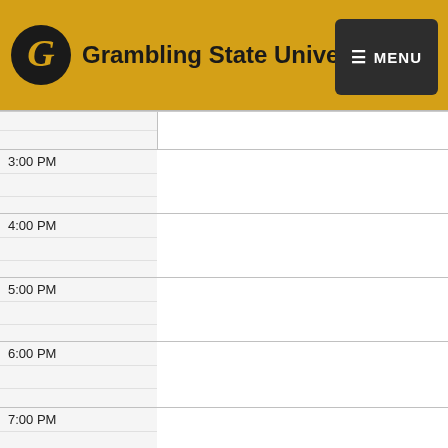Grambling State University — MENU
3:00 PM
4:00 PM
5:00 PM
6:00 PM
7:00 PM
8:00 PM